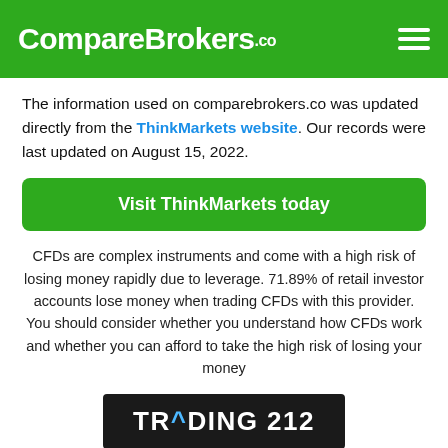CompareBrokers.co
The information used on comparebrokers.co was updated directly from the ThinkMarkets website. Our records were last updated on August 15, 2022.
Visit ThinkMarkets today
CFDs are complex instruments and come with a high risk of losing money rapidly due to leverage. 71.89% of retail investor accounts lose money when trading CFDs with this provider. You should consider whether you understand how CFDs work and whether you can afford to take the high risk of losing your money
[Figure (logo): Trading 212 logo — white text on black background reading TR^DING 212]